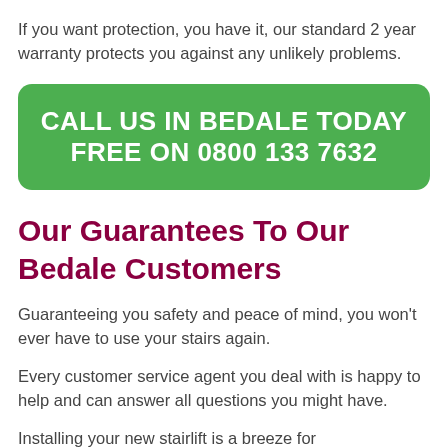If you want protection, you have it, our standard 2 year warranty protects you against any unlikely problems.
CALL US IN BEDALE TODAY FREE ON 0800 133 7632
Our Guarantees To Our Bedale Customers
Guaranteeing you safety and peace of mind, you won't ever have to use your stairs again.
Every customer service agent you deal with is happy to help and can answer all questions you might have.
Installing your new stairlift is a breeze for